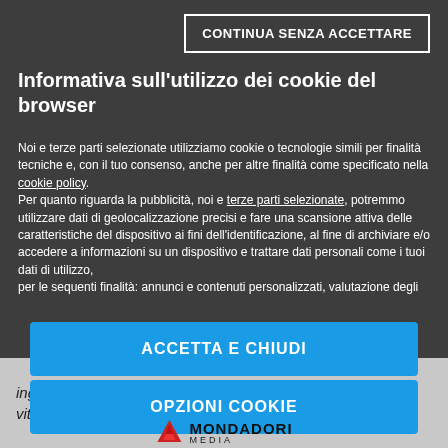[Figure (screenshot): Cookie consent modal overlay on a dark background with buttons and Mondadori Media logo]
CONTINUA SENZA ACCETTARE
Informativa sull'utilizzo dei cookie del browser
Noi e terze parti selezionate utilizziamo cookie o tecnologie simili per finalità tecniche e, con il tuo consenso, anche per altre finalità come specificato nella cookie policy. Per quanto riguarda la pubblicità, noi e terze parti selezionate, potremmo utilizzare dati di geolocalizzazione precisi e fare una scansione attiva delle caratteristiche del dispositivo ai fini dell'identificazione, al fine di archiviare e/o accedere a informazioni su un dispositivo e trattare dati personali come i tuoi dati di utilizzo, per le sequenti finalità: annunci e contenuti personalizzati, valutazione degli
ACCETTA E CHIUDI
OPZIONI COOKIE
[Figure (logo): Mondadori Media logo with red M icon]
inglese con traduzione in italiano sull'educazione nell'età vittoriana (4 pagine formato doc)